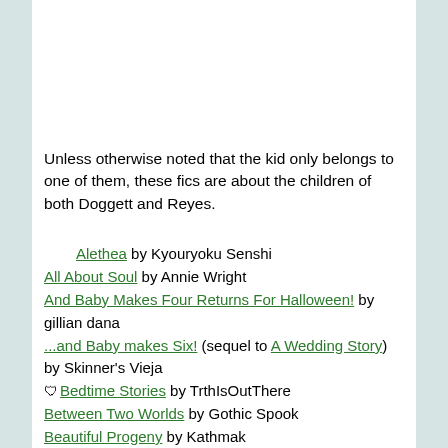Unless otherwise noted that the kid only belongs to one of them, these fics are about the children of both Doggett and Reyes.
Alethea by Kyouryoku Senshi
All About Soul by Annie Wright
And Baby Makes Four Returns For Halloween! by gillian dana
...and Baby makes Six! (sequel to A Wedding Story) by Skinner's Vieja
Bedtime Stories by TrthIsOutThere
Between Two Worlds by Gothic Spook
Beautiful Progeny by Kathmak
Beyond The Truth series by Neoxphile
Cerril: El salvaje y peligroso gato by Sita